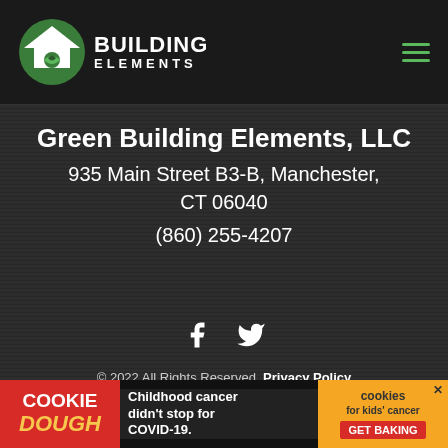[Figure (logo): Building Elements logo with green house icon and white text BUILDING ELEMENTS]
Green Building Elements, LLC
935 Main Street B3-B, Manchester, CT 06040
(860) 255-4207
[Figure (illustration): Facebook and Twitter social media icons in white]
© 2022 All Rights Reserved. Privacy Policy
Exclusive Member of Mediavine Home
Green Building Elements LLC is a participant in the
[Figure (screenshot): Cookie Dough advertisement banner - Childhood cancer didn't stop for COVID-19 with cookies for kids cancer GET BAKING button]